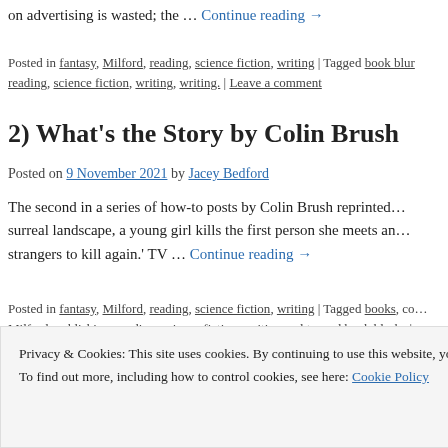on advertising is wasted; the … Continue reading →
Posted in fantasy, Milford, reading, science fiction, writing | Tagged book blurb, reading, science fiction, writing, writing. | Leave a comment
2) What's the Story by Colin Brush
Posted on 9 November 2021 by Jacey Bedford
The second in a series of how-to posts by Colin Brush reprinted… surreal landscape, a young girl kills the first person she meets an… strangers to kill again.' TV … Continue reading →
Posted in fantasy, Milford, reading, science fiction, writing | Tagged books, co… Milford, publishing, reading, science fiction, writing and tagged book blurbs | …
Privacy & Cookies: This site uses cookies. By continuing to use this website, you agree to their use. To find out more, including how to control cookies, see here: Cookie Policy
Close and accept
This is the beginning of a series of writing how-to posts by Coli…